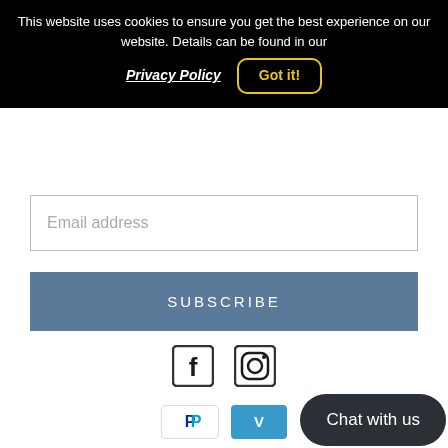This website uses cookies to ensure you get the best experience on our website. Details can be found in our Privacy Policy  Got it!
[Figure (screenshot): Email address input field with border]
[Figure (screenshot): SUBSCRIBE button in steel blue color]
[Figure (logo): Facebook and Instagram social media icons]
[Figure (logo): PayPal and Venmo payment method icons]
© 2022, Signari Gallery   Powe...
[Figure (screenshot): Chat with us dark rounded button]